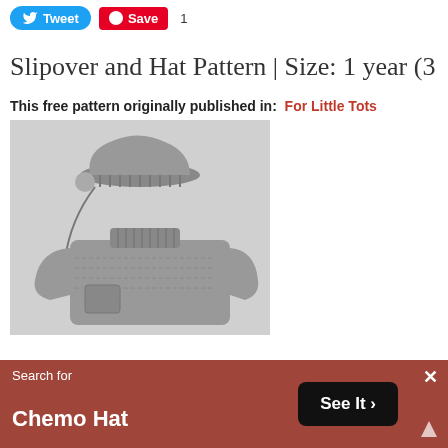[Figure (other): Tweet button (blue rounded) and Pinterest Save button (red) with count 1]
Slipover and Hat Pattern | Size: 1 year (3 and
This free pattern originally published in: For Little Tots
[Figure (photo): Black and white photograph of a knitted child's slipover sweater and matching hat with pom-pom and chin ties]
Search for
Chemo Hat
See It >